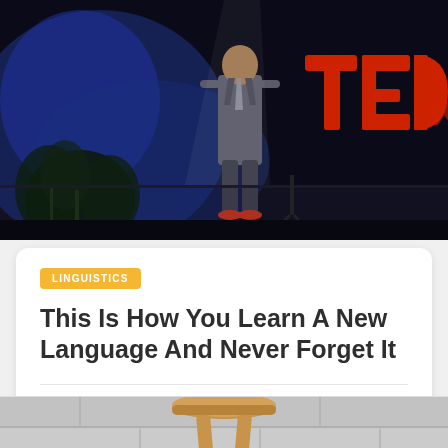[Figure (photo): TEDx stage photo showing a man in a grey suit standing on a dark stage with blue lighting and a large red TEDx logo visible on the right side, with tropical plants in the background.]
LINGUISTICS
This Is How You Learn A New Language And Never Forget It
5 min read
[Figure (photo): A wooden bar stool on a light grey brick wall background, partially visible at the bottom of the page.]